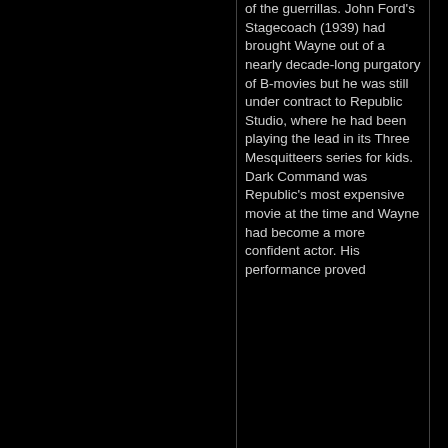of the guerrillas. John Ford's Stagecoach (1939) had brought Wayne out of a nearly decade-long purgatory of B-movies but he was still under contract to Republic Studio, where he had been playing the lead in its Three Mesquitteers series for kids. Dark Command was Republic's most expensive movie at the time and Wayne had become a more confident actor. His performance proved